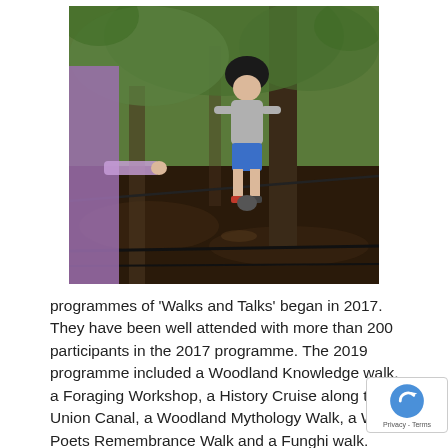[Figure (photo): A child in a helmet and blue shorts balancing on a rope low to the ground in a woodland setting, with another person in a purple top visible on the left holding the rope.]
programmes of ‘Walks and Talks’ began in 2017. They have been well attended with more than 200 participants in the 2017 programme. The 2019 programme included a Woodland Knowledge walk, a Foraging Workshop, a History Cruise along the Union Canal, a Woodland Mythology Walk, a W Poets Remembrance Walk and a Funghi walk.